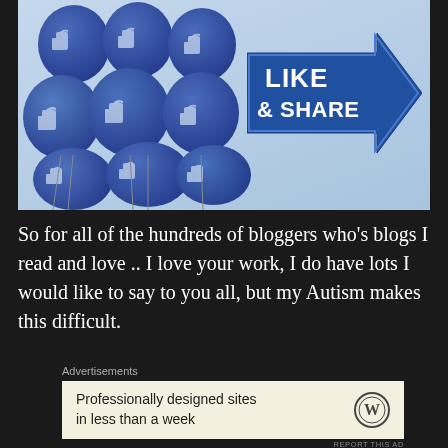[Figure (photo): Facebook-style 'like' thumbs up balloons in dark blue clustered together on left side, with a blue arrow sign on the right reading 'LIKE & SHARE' with a large thumbs up hand icon, all on a light blue background]
So for all of the hundreds of bloggers who's blogs I read and love .. I love your work, I do have lots I would like to say to you all, but my Autism makes this difficult.
Advertisements
[Figure (screenshot): Advertisement box with cream/beige background showing text 'Professionally designed sites in less than a week' with WordPress logo on the right]
REPORT THIS AD